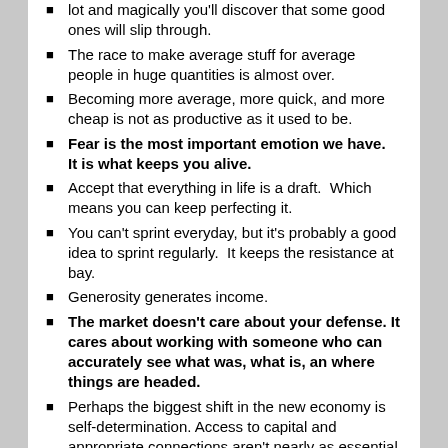lot and magically you'll discover that some good ones will slip through.
The race to make average stuff for average people in huge quantities is almost over.
Becoming more average, more quick, and more cheap is not as productive as it used to be.
Fear is the most important emotion we have.  It is what keeps you alive.
Accept that everything in life is a draft.  Which means you can keep perfecting it.
You can't sprint everyday, but it's probably a good idea to sprint regularly.  It keeps the resistance at bay.
Generosity generates income.
The market doesn't care about your defense. It cares about working with someone who can accurately see what was, what is, an where things are headed.
Perhaps the biggest shift in the new economy is self-determination. Access to capital and appropriate connections aren't nearly as essential as they were.  Linchpins are made not born.